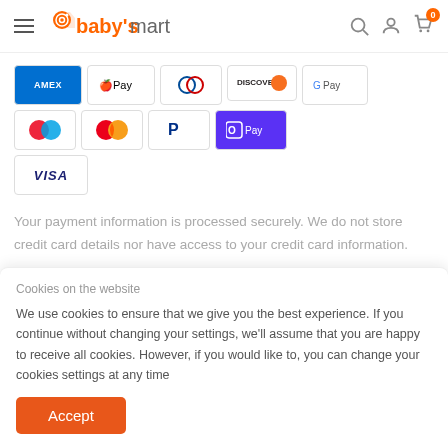baby's mart
[Figure (logo): Payment method icons: AMEX, Apple Pay, Diners Club, Discover, Google Pay, Maestro, Mastercard, PayPal, ShopPay, Visa]
Your payment information is processed securely. We do not store credit card details nor have access to your credit card information.
Cookies on the website
We use cookies to ensure that we give you the best experience. If you continue without changing your settings, we'll assume that you are happy to receive all cookies. However, if you would like to, you can change your cookies settings at any time
Accept
These instead